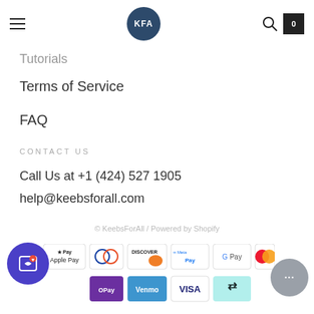KFA — navigation header with hamburger menu, KFA logo, search icon, cart icon
Tutorials
Terms of Service
FAQ
CONTACT US
Call Us at +1 (424) 527 1905
help@keebsforall.com
© KeebsForAll / Powered by Shopify
[Figure (other): Payment method icons: Apple Pay, Diners Club, Discover, Meta Pay, Google Pay, Mastercard, OPay, Venmo, Visa, Afterpay/Clearpay]